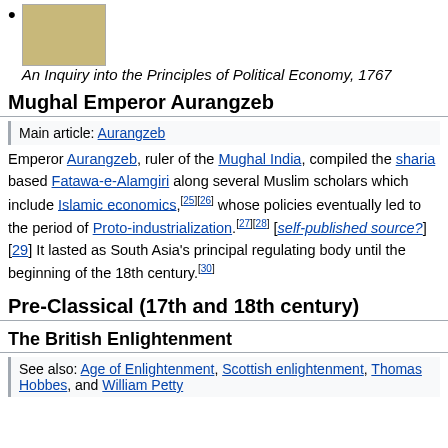An Inquiry into the Principles of Political Economy, 1767
Mughal Emperor Aurangzeb
Main article: Aurangzeb
Emperor Aurangzeb, ruler of the Mughal India, compiled the sharia based Fatawa-e-Alamgiri along several Muslim scholars which include Islamic economics,[25][26] whose policies eventually led to the period of Proto-industrialization.[27][28][self-published source?][29] It lasted as South Asia's principal regulating body until the beginning of the 18th century.[30]
Pre-Classical (17th and 18th century)
The British Enlightenment
See also: Age of Enlightenment, Scottish enlightenment, Thomas Hobbes, and William Petty